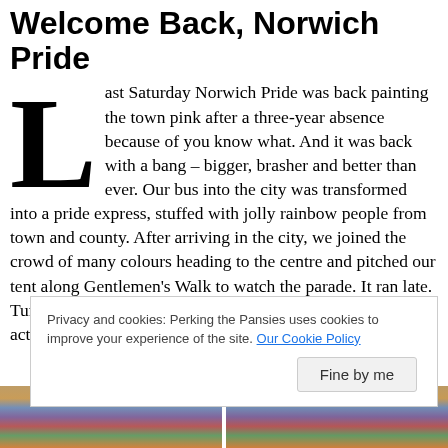Welcome Back, Norwich Pride
Last Saturday Norwich Pride was back painting the town pink after a three-year absence because of you know what. And it was back with a bang – bigger, brasher and better than ever. Our bus into the city was transformed into a pride express, stuffed with jolly rainbow people from town and county. After arriving in the city, we joined the crowd of many colours heading to the centre and pitched our tent along Gentlemen's Walk to watch the parade. It ran late. Turns out that a cast of thousands wanted to get in on the act, so it took a while to gather them all up.
Privacy and cookies: Perking the Pansies uses cookies to improve your experience of the site. Our Cookie Policy
[Figure (photo): Two crowd photos from Norwich Pride event at bottom of page]